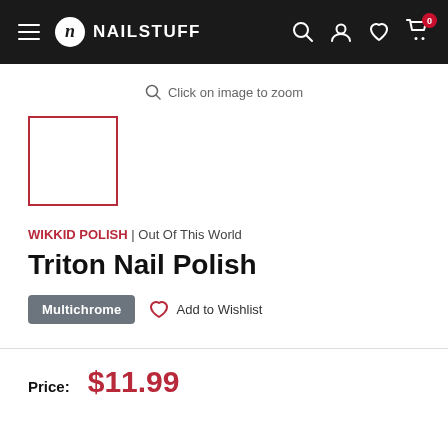NAILSTUFF — navigation header with hamburger menu, logo, search, account, wishlist, and cart icons
Click on image to zoom
[Figure (photo): Product thumbnail image placeholder box with red border]
WIKKID POLISH | Out Of This World
Triton Nail Polish
Multichrome  Add to Wishlist
Price: $11.99